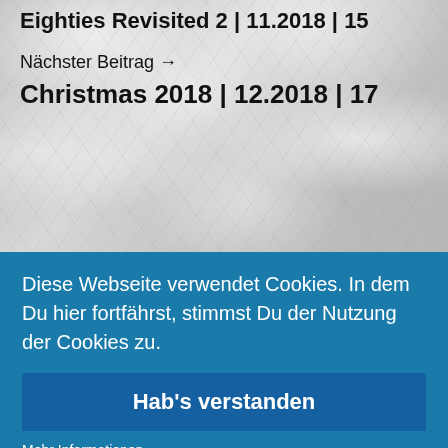Eighties Revisited 2 | 11.2018 | 15
Nächster Beitrag →
Christmas 2018 | 12.2018 | 17
Diese Webseite verwendet Cookies. In dem Du hier fortfährst, stimmst Du der Nutzung der Cookies zu.
Hab's verstanden
Mehr Informationen